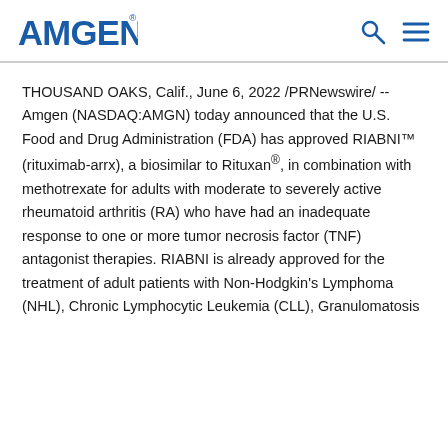AMGEN
THOUSAND OAKS, Calif., June 6, 2022 /PRNewswire/ -- Amgen (NASDAQ:AMGN) today announced that the U.S. Food and Drug Administration (FDA) has approved RIABNI™ (rituximab-arrx), a biosimilar to Rituxan®, in combination with methotrexate for adults with moderate to severely active rheumatoid arthritis (RA) who have had an inadequate response to one or more tumor necrosis factor (TNF) antagonist therapies. RIABNI is already approved for the treatment of adult patients with Non-Hodgkin's Lymphoma (NHL), Chronic Lymphocytic Leukemia (CLL), Granulomatosis